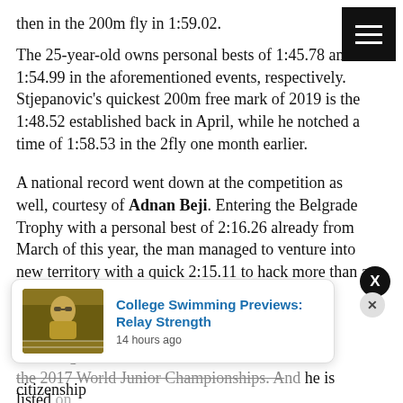then in the 200m fly in 1:59.02.
The 25-year-old owns personal bests of 1:45.78 and 1:54.99 in the aforementioned events, respectively. Stjepanovic's quickest 200m free mark of 2019 is the 1:48.52 established back in April, while he notched a time of 1:58.53 in the 2fly one month earlier.
A national record went down at the competition as well, courtesy of Adnan Beji. Entering the Belgrade Trophy with a personal best of 2:16.26 already from March of this year, the man managed to venture into new territory with a quick 2:15.11 to hack more than a second off that mark.
Of note, Beji has represented Tunisia in the past, including the 2017 World Junior Championships. And he is listed on the Tunisian National Federation of Swimming website, and changed his sporting citizenship
[Figure (screenshot): Popup notification card showing 'College Swimming Previews: Relay Strength' with a thumbnail image of a swimmer, published 14 hours ago, with close buttons overlaid.]